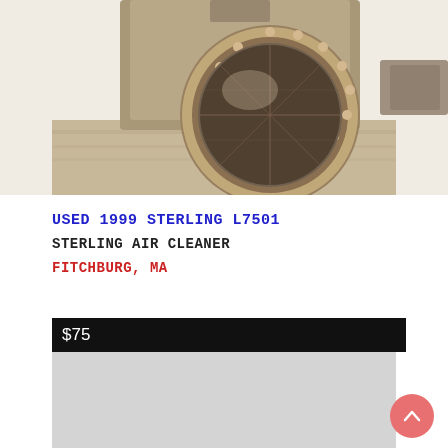[Figure (photo): Photo of a used Sterling air cleaner component, showing a cylindrical metal filter with mesh screen and beaded rim, placed on a wooden pallet. Tan/bronze colored industrial part.]
USED 1999 STERLING L7501
STERLING AIR CLEANER
FITCHBURG, MA
$75